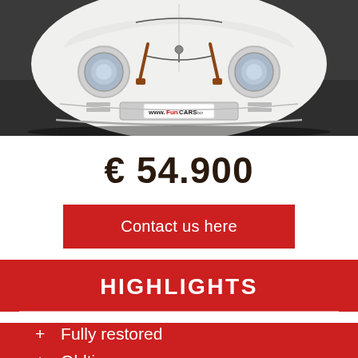[Figure (photo): Front view of a white vintage Porsche 356 replica/kit car with round headlights, leather hood straps, and a FunCars license plate, photographed against a dark asphalt background.]
€ 54.900
Contact us here
HIGHLIGHTS
+ Fully restored
+ Oldtimer